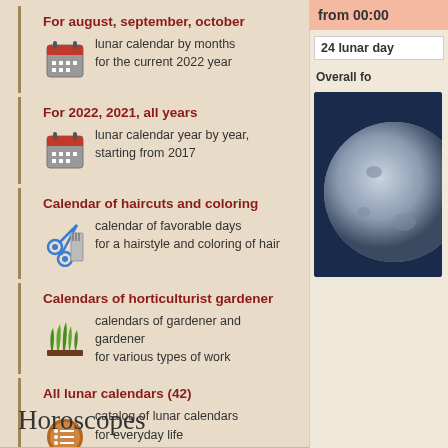For august, september, october
lunar calendar by months for the current 2022 year
For 2022, 2021, all years
lunar calendar year by year, starting from 2017
Calendar of haircuts and coloring
calendar of favorable days for a hairstyle and coloring of hair
Calendars of horticulturist gardener
calendars of gardener and gardener for various types of work
All lunar calendars (42)
catalog of lunar calendars for everyday life
Horoscopes
from 00:00
24 lunar day
Overall fo